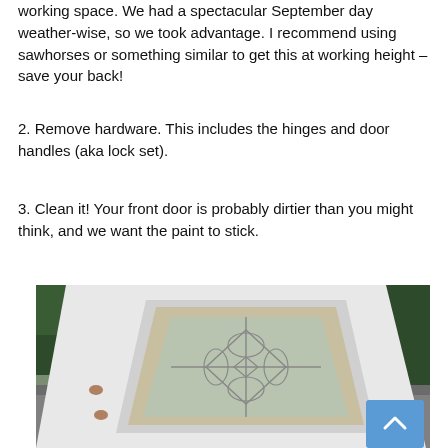working space. We had a spectacular September day weather-wise, so we took advantage. I recommend using sawhorses or something similar to get this at working height – save your back!
2. Remove hardware. This includes the hinges and door handles (aka lock set).
3. Clean it! Your front door is probably dirtier than you might think, and we want the paint to stick.
[Figure (photo): A white front door with a decorative glass panel laid flat on sawhorses outdoors. The door is viewed from above at an angle, showing the glass insert with a floral lead pattern. Two hinge holes are visible on the left edge. The background shows a driveway and green foliage/fence. A blue 'back to top' button with a chevron arrow is visible in the bottom-right of the image.]